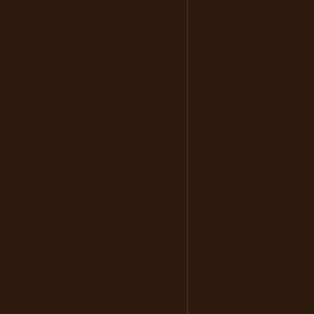ralph lauren po
rolex replica w sale
air jordan
canada goose c